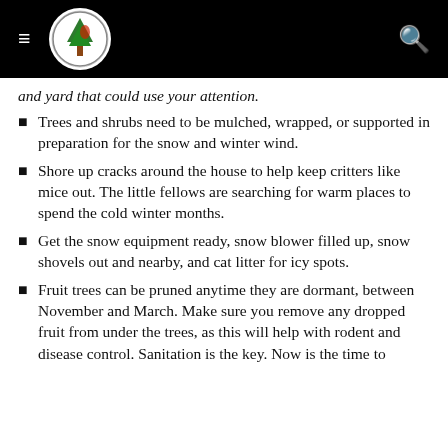[Navigation header with hamburger menu, logo, and search icon]
and yard that could use your attention.
Trees and shrubs need to be mulched, wrapped, or supported in preparation for the snow and winter wind.
Shore up cracks around the house to help keep critters like mice out. The little fellows are searching for warm places to spend the cold winter months.
Get the snow equipment ready, snow blower filled up, snow shovels out and nearby, and cat litter for icy spots.
Fruit trees can be pruned anytime they are dormant, between November and March. Make sure you remove any dropped fruit from under the trees, as this will help with rodent and disease control. Sanitation is the key. Now is the time to